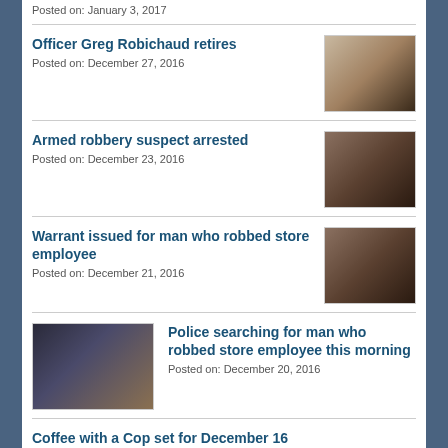Posted on: January 3, 2017
Officer Greg Robichaud retires
Posted on: December 27, 2016
Armed robbery suspect arrested
Posted on: December 23, 2016
Warrant issued for man who robbed store employee
Posted on: December 21, 2016
Police searching for man who robbed store employee this morning
Posted on: December 20, 2016
Coffee with a Cop set for December 16
Posted on: December 13, 2016
PPD Officer Charles Restifo named